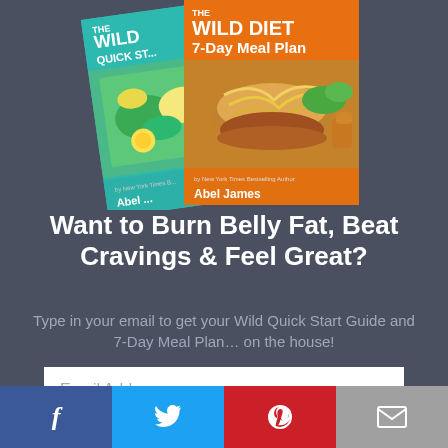[Figure (illustration): Two book covers: 'The Wild Diet Quick Start' (teal cover with salad) and 'The Wild Diet 7-Day Meal Plan' (orange cover with food photo), by New York Times Bestselling Author Abel James]
Want to Burn Belly Fat, Beat Cravings & Feel Great?
Type in your email to get your Wild Quick Start Guide and 7-Day Meal Plan… on the house!
Email Address
Get Started
[Figure (infographic): Social share bar with Facebook (blue), Twitter (light blue), Pinterest (red), and Email (gray) buttons]